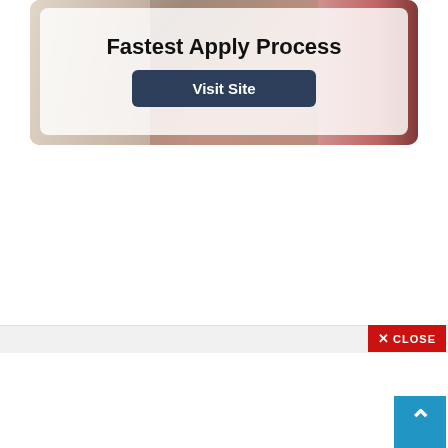[Figure (infographic): Advertisement banner with medical/nursing background photo. White semi-transparent overlay box containing the text 'Fastest Apply Process' and a dark navy 'Visit Site' button.]
CLOSE
[Figure (illustration): Scroll-to-top button in blue with upward-pointing chevron arrow, positioned bottom right.]